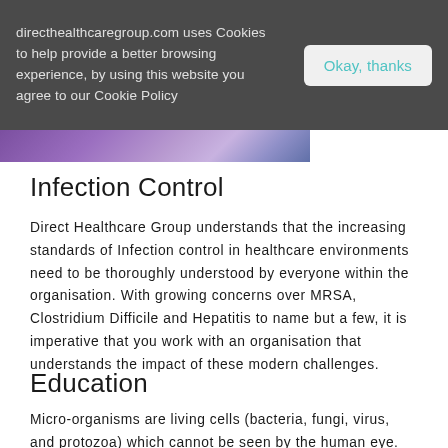directhealthcaregroup.com uses Cookies to help provide a better browsing experience, by using this website you agree to our Cookie Policy
[Figure (photo): Purple and blue abstract/blurred image strip at the top of the page content area]
Infection Control
Direct Healthcare Group understands that the increasing standards of Infection control in healthcare environments need to be thoroughly understood by everyone within the organisation. With growing concerns over MRSA, Clostridium Difficile and Hepatitis to name but a few, it is imperative that you work with an organisation that understands the impact of these modern challenges.
Education
Micro-organisms are living cells (bacteria, fungi, virus, and protozoa) which cannot be seen by the human eye. They are